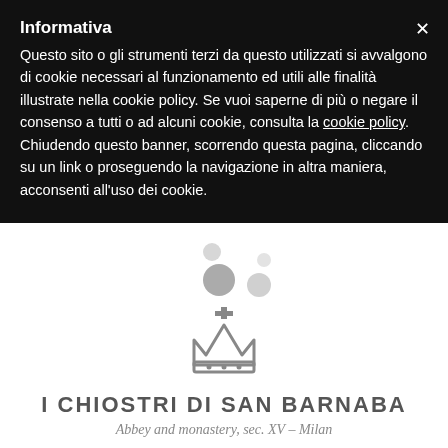Informativa
Questo sito o gli strumenti terzi da questo utilizzati si avvalgono di cookie necessari al funzionamento ed utili alle finalità illustrate nella cookie policy. Se vuoi saperne di più o negare il consenso a tutti o ad alcuni cookie, consulta la cookie policy.
Chiudendo questo banner, scorrendo questa pagina, cliccando su un link o proseguendo la navigazione in altra maniera, acconsenti all'uso dei cookie.
[Figure (other): Loading dots / spinner dots in grey on white background]
[Figure (logo): Crown icon with cross above it — logo for I Chiostri di San Barnaba]
I CHIOSTRI DI SAN BARNABA
Abbey and monastery, sec. XV – Milan